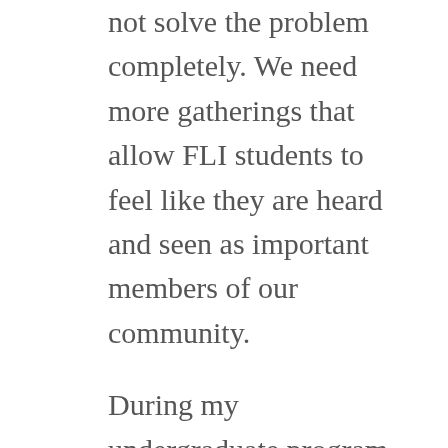not solve the problem completely. We need more gatherings that allow FLI students to feel like they are heard and seen as important members of our community.
During my undergraduate program, having a mentor who helped me throughout my four years at the university, provided me with a sense of stability. I could talk to her and laugh about the social structures that inhibited me and my growth. I think similar programs are very important for students. Having a mentor makes you realize that you are not alone, and sometimes that is all you need to hear. This is one of the main reasons that I want to be